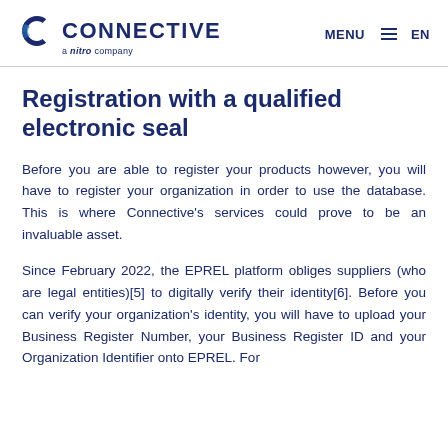CONNECTIVE a nitro company | MENU EN
Registration with a qualified electronic seal
Before you are able to register your products however, you will have to register your organization in order to use the database. This is where Connective's services could prove to be an invaluable asset.
Since February 2022, the EPREL platform obliges suppliers (who are legal entities)[5] to digitally verify their identity[6]. Before you can verify your organization's identity, you will have to upload your Business Register Number, your Business Register ID and your Organization Identifier onto EPREL. For